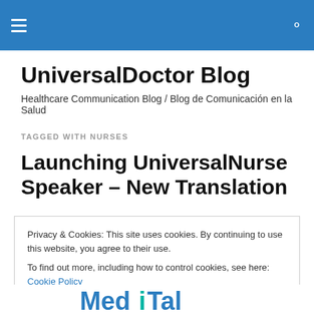UniversalDoctor Blog — site header navigation bar
UniversalDoctor Blog
Healthcare Communication Blog / Blog de Comunicación en la Salud
TAGGED WITH NURSES
Launching UniversalNurse Speaker – New Translation
Privacy & Cookies: This site uses cookies. By continuing to use this website, you agree to their use.
To find out more, including how to control cookies, see here: Cookie Policy
Close and accept
[Figure (logo): Partial logo at bottom of page showing stylized text in blue and teal colors]